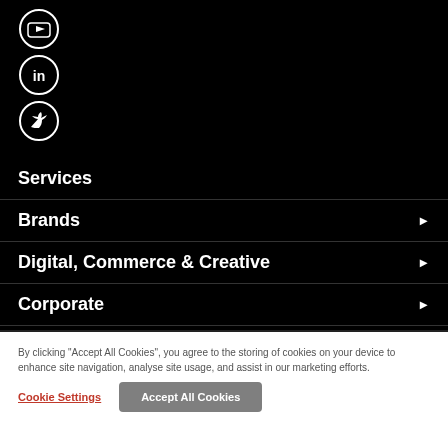[Figure (illustration): Three social media icons in white circles on black background: YouTube, LinkedIn, Twitter]
Services
Brands ▶
Digital, Commerce & Creative ▶
Corporate ▶
Data & Privacy ▶
By clicking "Accept All Cookies", you agree to the storing of cookies on your device to enhance site navigation, analyse site usage, and assist in our marketing efforts.
Cookie Settings
Accept All Cookies